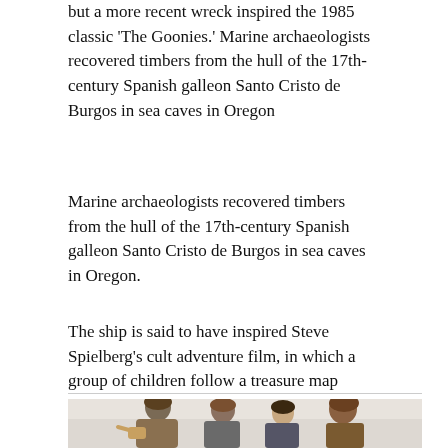but a more recent wreck inspired the 1985 classic 'The Goonies.' Marine archaeologists recovered timbers from the hull of the 17th-century Spanish galleon Santo Cristo de Burgos in sea caves in Oregon
Marine archaeologists recovered timbers from the hull of the 17th-century Spanish galleon Santo Cristo de Burgos in sea caves in Oregon.
The ship is said to have inspired Steve Spielberg's cult adventure film, in which a group of children follow a treasure map leading to a pirate's fortune.
[Figure (photo): A group of young boys huddled together looking at something off-frame, from The Goonies (1985 film). Black and white / muted tone photograph.]